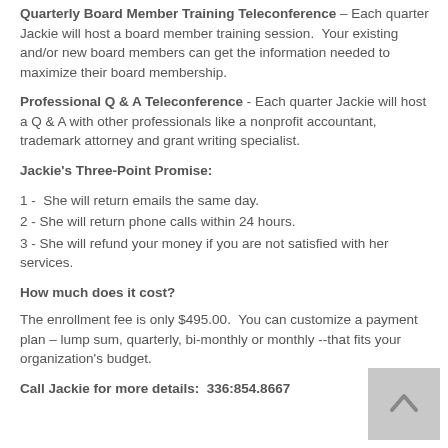Quarterly Board Member Training Teleconference – Each quarter Jackie will host a board member training session. Your existing and/or new board members can get the information needed to maximize their board membership.
Professional Q & A Teleconference - Each quarter Jackie will host a Q & A with other professionals like a nonprofit accountant, trademark attorney and grant writing specialist.
Jackie's Three-Point Promise:
1 -  She will return emails the same day.
2 - She will return phone calls within 24 hours.
3 - She will refund your money if you are not satisfied with her services.
How much does it cost?
The enrollment fee is only $495.00.  You can customize a payment plan – lump sum, quarterly, bi-monthly or monthly --that fits your organization's budget.
Call Jackie for more details:  336:854.8667